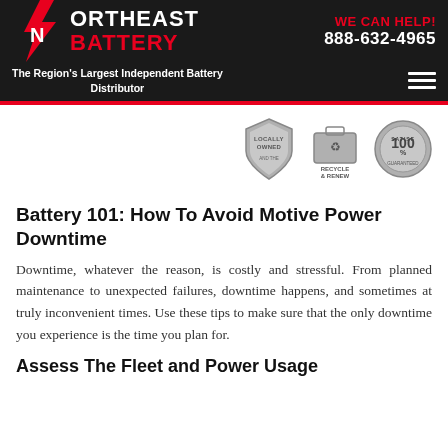[Figure (logo): Northeast Battery logo with red lightning bolt N icon, white NORTHEAST text and red BATTERY text on dark background]
WE CAN HELP! 888-632-4965
The Region's Largest Independent Battery Distributor
[Figure (infographic): Three circular badges: Locally Owned, Recycle & Renew, Satisfaction 100% Guaranteed]
Battery 101: How To Avoid Motive Power Downtime
Downtime, whatever the reason, is costly and stressful. From planned maintenance to unexpected failures, downtime happens, and sometimes at truly inconvenient times. Use these tips to make sure that the only downtime you experience is the time you plan for.
Assess The Fleet and Power Usage